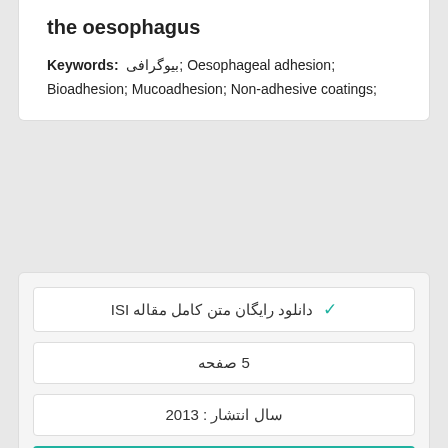the oesophagus
Keywords: بیوگرافی; Oesophageal adhesion; Bioadhesion; Mucoadhesion; Non-adhesive coatings;
دانلود رایگان متن کامل مقاله ISI ✓
5 صفحه
سال انتشار : 2013
✓ سفارش ترجمه